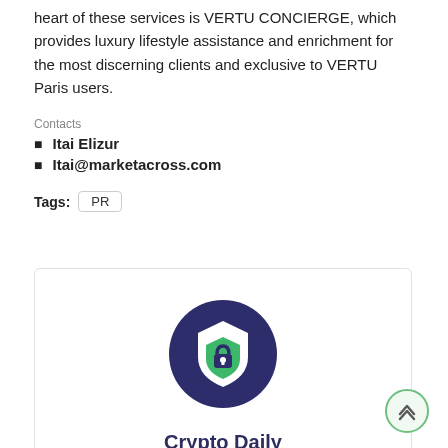heart of these services is VERTU CONCIERGE, which provides luxury lifestyle assistance and enrichment for the most discerning clients and exclusive to VERTU Paris users.
Contacts
Itai Elizur
Itai@marketacross.com
Tags: PR
[Figure (logo): Crypto Daily logo: a dark navy circle containing a shield icon with a green checkmark/lock design.]
Crypto Daily